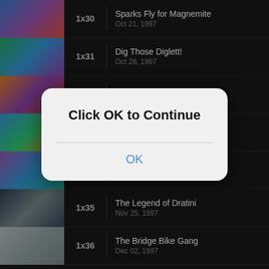1x30 Sparks Fly for Magnemite — Oct 21, 1997
1x31 Dig Those Diglett! — Oct 28, 1997
1x32 The Ninja-Poké Showdown
1x33 The Flame Pokémon-athon!
1x34 The Kangaskhan Kid — Nov 18, 1997
1x35 The Legend of Dratini — Nov 25, 1997
1x36 The Bridge Bike Gang — Dec 02, 1997
[Figure (screenshot): Mobile app dialog overlay with text 'Click OK to Continue' and an OK button, overlaid on a list of Pokémon anime episodes]